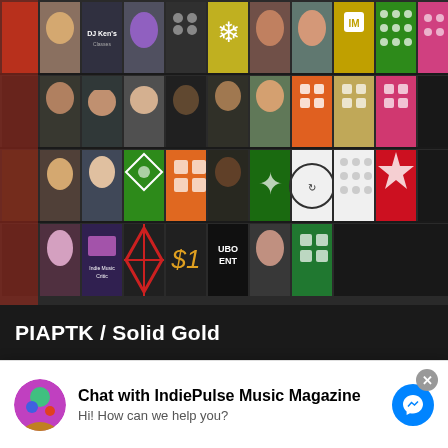[Figure (photo): Grid of social media profile photos and decorative pattern icons on dark background]
PIAPTK / Solid Gold
[Figure (photo): PIAPTK CD Record Series banner showing multiple album covers with triangle artwork and promotional text: 'This CD-Record is an analog/digital hybrid. It will play on your turntable and in your cd player.' with GROOVES label]
Chat with IndiePulse Music Magazine
Hi! How can we help you?